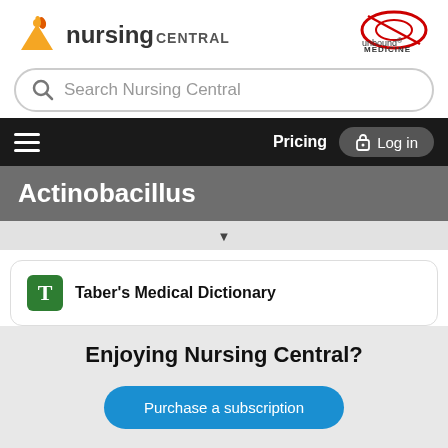[Figure (logo): Nursing Central logo with orange figure/flame icon and 'nursing CENTRAL' text on the left; Unbound Medicine oval logo on the right]
Search Nursing Central
Pricing  Log in
Actinobacillus
Taber's Medical Dictionary
Enjoying Nursing Central?
Purchase a subscription
I'm already a subscriber